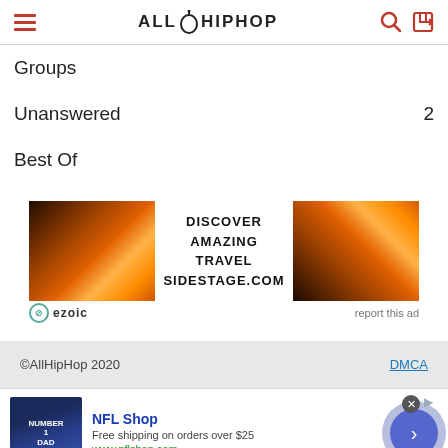AllHipHop
Groups
Unanswered 2
Best Of
[Figure (other): Advertisement banner: DISCOVER AMAZING TRAVEL SIDESTAGE.COM with sunset/landscape images on left and right, ezoic badge, report this ad link]
©AllHipHop 2020   DMCA
[Figure (other): Bottom advertisement: NFL Shop - Free shipping on orders over $25, www.nflshop.com, with Dallas Cowboys jersey image and navigation arrow]